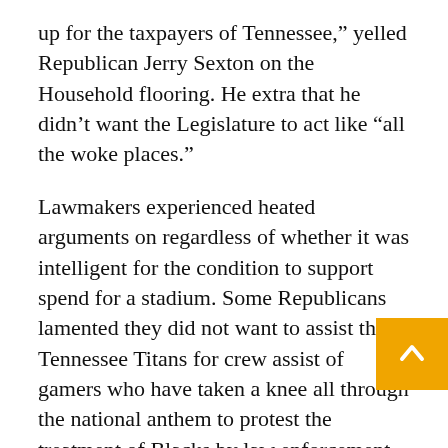up for the taxpayers of Tennessee,” yelled Republican Jerry Sexton on the Household flooring. He extra that he didn’t want the Legislature to act like “all the woke places.”
Lawmakers experienced heated arguments on regardless of whether it was intelligent for the condition to support spend for a stadium. Some Republicans lamented they did not want to assist the Tennessee Titans for crew assist of gamers who have taken a knee all through the national anthem to protest the treatment of Blacks by law enforcement.
“Now they are coming to us and they want a bunch of money for a bunch of men who won’t even st—d up when our nationwide anthem is currently b— performed in our stadium,” mentioned Rep. Terri